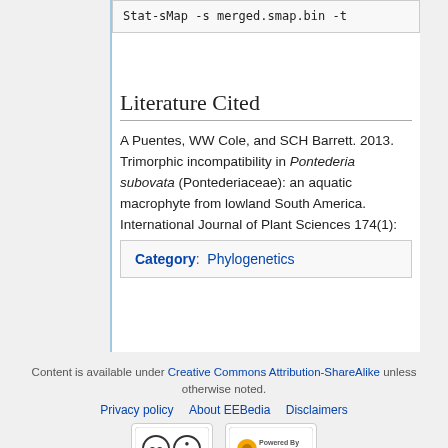Stat-sMap -s merged.smap.bin -t
Literature Cited
A Puentes, WW Cole, and SCH Barrett. 2013. Trimorphic incompatibility in Pontederia subovata (Pontederiaceae): an aquatic macrophyte from lowland South America. International Journal of Plant Sciences 174(1): 47-56. PDF
Category:  Phylogenetics
Content is available under Creative Commons Attribution-ShareAlike unless otherwise noted.
Privacy policy   About EEBedia   Disclaimers